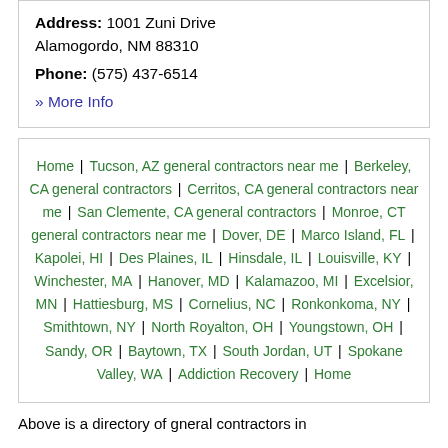Address: 1001 Zuni Drive Alamogordo, NM 88310
Phone: (575) 437-6514
» More Info
Home | Tucson, AZ general contractors near me | Berkeley, CA general contractors | Cerritos, CA general contractors near me | San Clemente, CA general contractors | Monroe, CT general contractors near me | Dover, DE | Marco Island, FL | Kapolei, HI | Des Plaines, IL | Hinsdale, IL | Louisville, KY | Winchester, MA | Hanover, MD | Kalamazoo, MI | Excelsior, MN | Hattiesburg, MS | Cornelius, NC | Ronkonkoma, NY | Smithtown, NY | North Royalton, OH | Youngstown, OH | Sandy, OR | Baytown, TX | South Jordan, UT | Spokane Valley, WA | Addiction Recovery | Home
Above is a directory of gneral contractors in